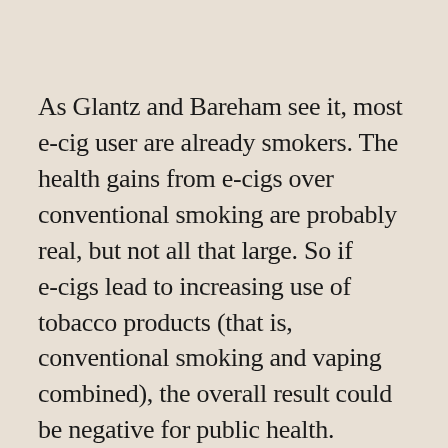As Glantz and Bareham see it, most e-cig user are already smokers. The health gains from e-cigs over conventional smoking are probably real, but not all that large. So if e-cigs lead to increasing use of tobacco products (that is, conventional smoking and vaping combined), the overall result could be negative for public health.